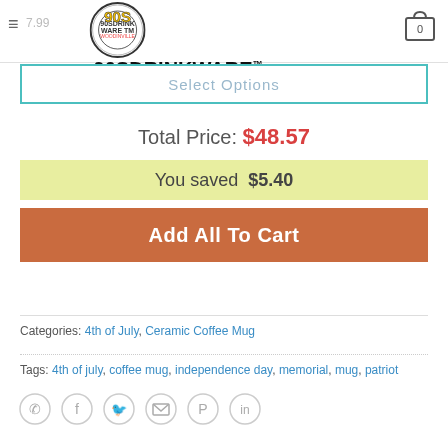90SDRINKWARE™ - 90SDRINKWARE.COM
Select Options
Total Price: $48.57
You saved $5.40
Add All To Cart
Categories: 4th of July, Ceramic Coffee Mug
Tags: 4th of july, coffee mug, independence day, memorial, mug, patriot